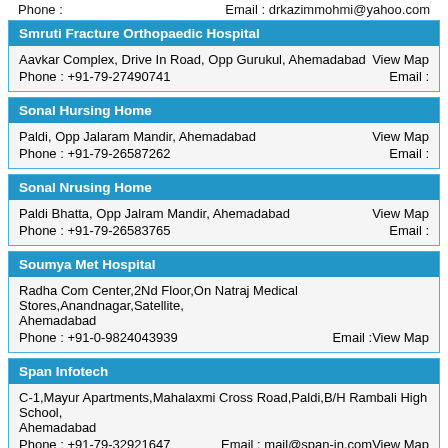Phone :    Email : drkazimmohmi@yahoo.com
Smruti Fracture Orthopaedic Hospital
Aavkar Complex, Drive In Road, Opp Gurukul, Ahemadabad    View Map
Phone : +91-79-27490741    Email :
Sonal Hursing Home
Paldi, Opp Jalaram Mandir, Ahemadabad    View Map
Phone : +91-79-26587262    Email :
Sonal Nrusing Home
Paldi Bhatta, Opp Jalram Mandir, Ahemadabad    View Map
Phone : +91-79-26583765    Email :
Soumya Met Hospital
Radha Com Center,2Nd Floor,On Natraj Medical Stores,Anandnagar,Satellite, Ahemadabad
Phone : +91-0-9824043939    Email :View Map
Span Infotech
C-1,Mayur Apartments,Mahalaxmi Cross Road,Paldi,B/H Rambali High School, Ahemadabad
Phone : +91-79-32921647    Email : mail@span-in.comView Map
Sparsh Neo-Care
3rd Floor B-Wing Nilkanth Palace Syamal Cross Road Opp-Sima Marriage Hall Satellite